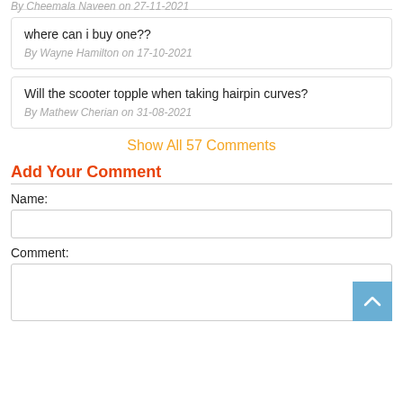By Cheemala Naveen on 27-11-2021
where can i buy one??
By Wayne Hamilton on 17-10-2021
Will the scooter topple when taking hairpin curves?
By Mathew Cherian on 31-08-2021
Show All 57 Comments
Add Your Comment
Name:
Comment: